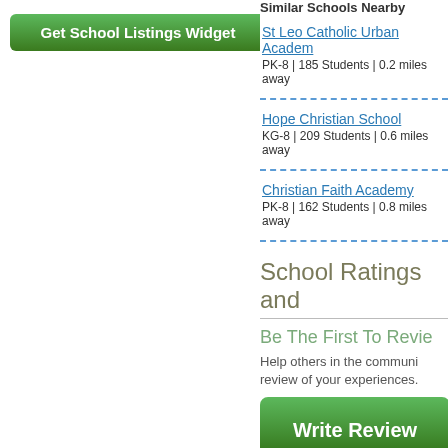[Figure (other): Green button: Get School Listings Widget]
Similar Schools Nearby
St Leo Catholic Urban Academy
PK-8 | 185 Students | 0.2 miles away
Hope Christian School
KG-8 | 209 Students | 0.6 miles away
Christian Faith Academy
PK-8 | 162 Students | 0.8 miles away
School Ratings and
Be The First To Revie
Help others in the communi review of your experiences.
[Figure (other): Green button: Write Review]
Faculty Details and